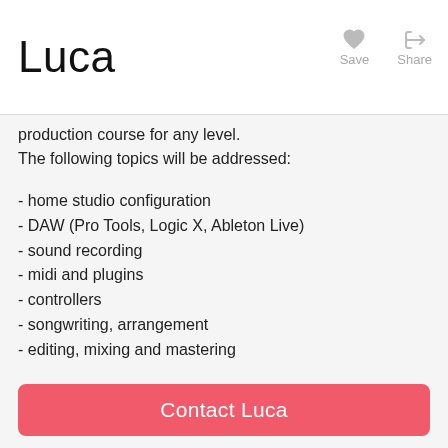Luca
production course for any level.
The following topics will be addressed:
- home studio configuration
- DAW (Pro Tools, Logic X, Ableton Live)
- sound recording
- midi and plugins
- controllers
- songwriting, arrangement
- editing, mixing and mastering
My teaching method is based on listening and playing: in my opinion, fun is essential for learning.
The purpose of the course (10 sessions) is the production of an EP of at least two titles.
Contact Luca